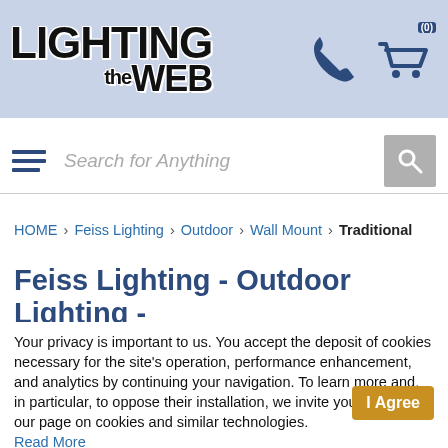[Figure (logo): Lighting the Web logo with phone and cart icons on blue-gray header background]
Search for Anything
HOME > Feiss Lighting > Outdoor > Wall Mount > Traditional
Feiss Lighting - Outdoor Lighting -
Your privacy is important to us. You accept the deposit of cookies necessary for the site's operation, performance enhancement, and analytics by continuing your navigation. To learn more and, in particular, to oppose their installation, we invite you to consult our page on cookies and similar technologies. Read More